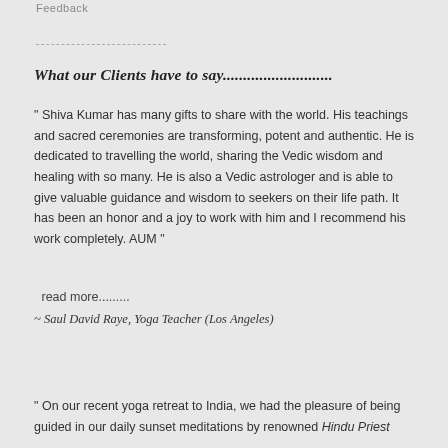Feedback
What our Clients have to say............................
" Shiva Kumar has many gifts to share with the world. His teachings and sacred ceremonies are transforming, potent and authentic. He is dedicated to travelling the world, sharing the Vedic wisdom and healing with so many. He is also a Vedic astrologer and is able to give valuable guidance and wisdom to seekers on their life path. It has been an honor and a joy to work with him and I recommend his work completely. AUM " read more......... ~ Saul David Raye, Yoga Teacher (Los Angeles)
" On our recent yoga retreat to India, we had the pleasure of being guided in our daily sunset meditations by renowned Hindu Priest